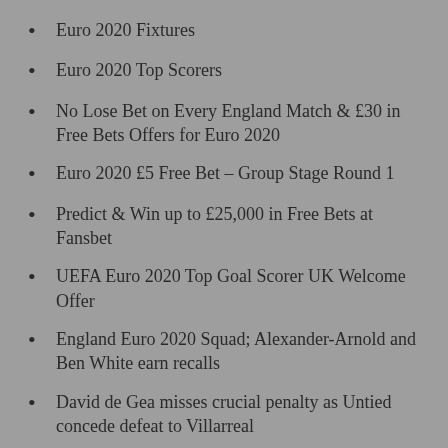Euro 2020 Fixtures
Euro 2020 Top Scorers
No Lose Bet on Every England Match & £30 in Free Bets Offers for Euro 2020
Euro 2020 £5 Free Bet – Group Stage Round 1
Predict & Win up to £25,000 in Free Bets at Fansbet
UEFA Euro 2020 Top Goal Scorer UK Welcome Offer
England Euro 2020 Squad; Alexander-Arnold and Ben White earn recalls
David de Gea misses crucial penalty as Untied concede defeat to Villarreal
Top New Betting Offer